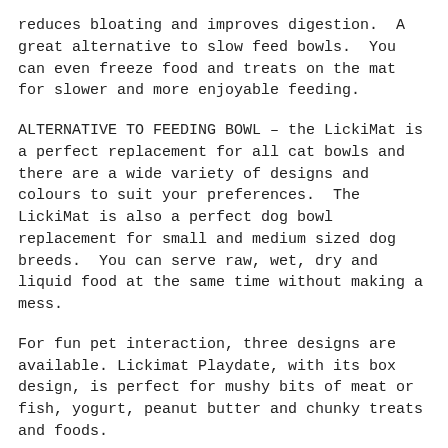reduces bloating and improves digestion.  A great alternative to slow feed bowls.  You can even freeze food and treats on the mat for slower and more enjoyable feeding.
ALTERNATIVE TO FEEDING BOWL – the LickiMat is a perfect replacement for all cat bowls and there are a wide variety of designs and colours to suit your preferences.  The LickiMat is also a perfect dog bowl replacement for small and medium sized dog breeds.  You can serve raw, wet, dry and liquid food at the same time without making a mess.
For fun pet interaction, three designs are available. Lickimat Playdate, with its box design, is perfect for mushy bits of meat or fish, yogurt, peanut butter and chunky treats and foods.
IF YOU HAVE A TEETHING PUPPY OR A NAUGHTY DOG THAT WILL CHEW ANYTHING, PLEASE ORDER THE LICKIMAT TUFF™